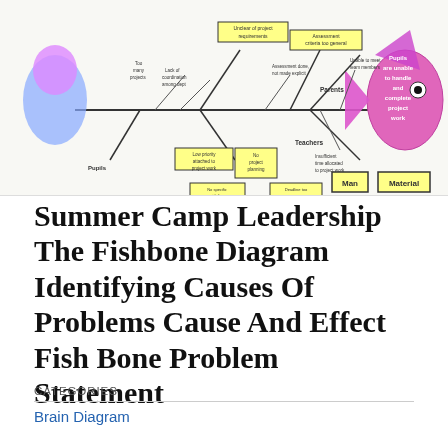[Figure (engineering-diagram): Fishbone (Ishikawa/cause-and-effect) diagram showing causes of 'Pupils are unable to handle and complete project work'. Major cause categories include: Unclear of project requirements, Assessment criteria too general, Parents (Unaware of rationale, Discourage students, Priority of homework), Teachers (Insufficient time allocated to project work, Weak assessment given), Man (No specific guidelines given to pupils, Deadline too close to success), Material. Additional causes include: Too many projects, Lack of coordination among departments, No proper monitoring in doing projects, Social Studies not a core subject, Poor attitude towards project work, Low priority attached to project work, No project planning, Concerned with final outcome, Lack of skill in project process, Do not give priority to project work.]
Summer Camp Leadership The Fishbone Diagram Identifying Causes Of Problems Cause And Effect Fish Bone Problem Statement
CATEGORIES
Brain Diagram